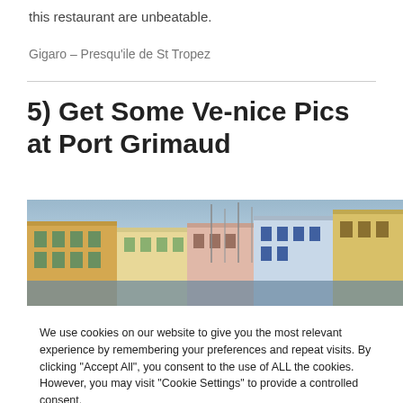this restaurant are unbeatable.
Gigaro – Presqu'ile de St Tropez
5) Get Some Ve-nice Pics at Port Grimaud
[Figure (photo): Colorful waterfront buildings at Port Grimaud with boats and masts visible, reminiscent of Venice.]
We use cookies on our website to give you the most relevant experience by remembering your preferences and repeat visits. By clicking "Accept All", you consent to the use of ALL the cookies. However, you may visit "Cookie Settings" to provide a controlled consent.